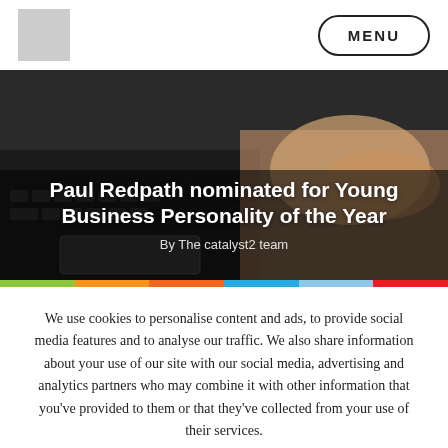MENU
[Figure (photo): Hands typing on a laptop keyboard, dark background, with overlaid text: 'Paul Redpath nominated for Young Business Personality of the Year' and byline 'By The catalyst2 team']
Paul Redpath nominated for Young Business Personality of the Year
By The catalyst2 team
We use cookies to personalise content and ads, to provide social media features and to analyse our traffic. We also share information about your use of our site with our social media, advertising and analytics partners who may combine it with other information that you've provided to them or that they've collected from your use of their services.